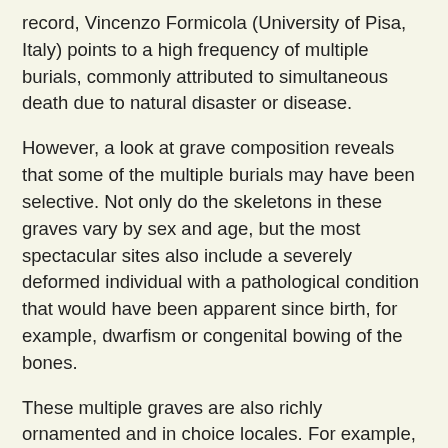record, Vincenzo Formicola (University of Pisa, Italy) points to a high frequency of multiple burials, commonly attributed to simultaneous death due to natural disaster or disease.
However, a look at grave composition reveals that some of the multiple burials may have been selective. Not only do the skeletons in these graves vary by sex and age, but the most spectacular sites also include a severely deformed individual with a pathological condition that would have been apparent since birth, for example, dwarfism or congenital bowing of the bones.
These multiple graves are also richly ornamented and in choice locales. For example, the remains of an adolescent dwarf in Romito Cave (Calabria, Italy) lie next to a female skeleton under an elaborate engraving of a bull. In the Sunghir double burial (Russia), the skeletons of a pre-teen boy and girl are surrounded by ivory objects